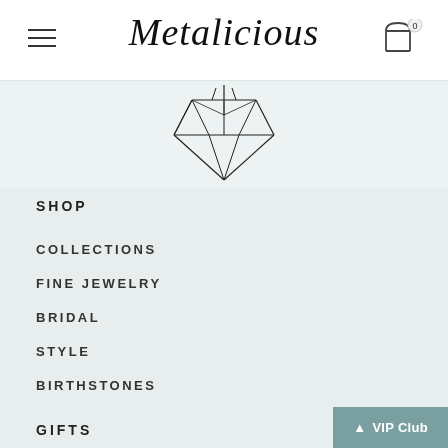Metalicious — navigation menu page
Metalicious
[Figure (illustration): Geometric diamond/gem line illustration, showing faceted gem shape from above, drawn in thin black lines on light background]
SHOP
COLLECTIONS
FINE JEWELRY
BRIDAL
STYLE
BIRTHSTONES
GIFTS
BIRTHDAY
GRADUATION